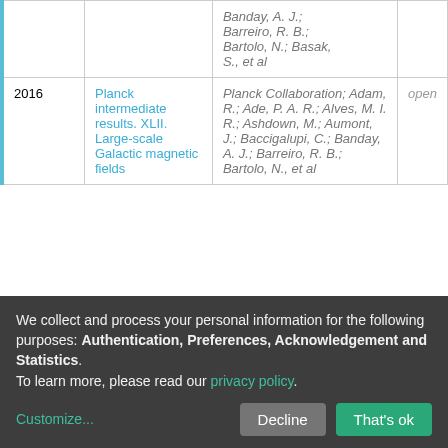| Year | Title | Authors | Access |
| --- | --- | --- | --- |
|  |  | Banday, A. J.; Barreiro, R. B.; Bartolo, N.; Basak, S., et al |  |
| 2016 | Planck intermediate results. XLII. Large-scale Galactic magnetic fields | Planck Collaboration; Adam, R.; Ade, P. A. R.; Alves, M. I. R.; Ashdown, M.; Aumont, J.; Baccigalupi, C.; Banday, A. J.; Barreiro, R. B.; Bartolo, N., et al | open |
We collect and process your personal information for the following purposes: Authentication, Preferences, Acknowledgement and Statistics. To learn more, please read our privacy policy.